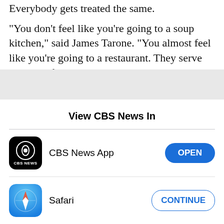Everybody gets treated the same.
"You don't feel like you're going to a soup kitchen," said James Tarone. "You almost feel like you're going to a restaurant. They serve you. The food is absolutely outstanding. Their services here are ridiculously good."
[Figure (screenshot): iOS app picker modal sheet with title 'View CBS News In', showing two options: CBS News App with an OPEN button, and Safari with a CONTINUE button.]